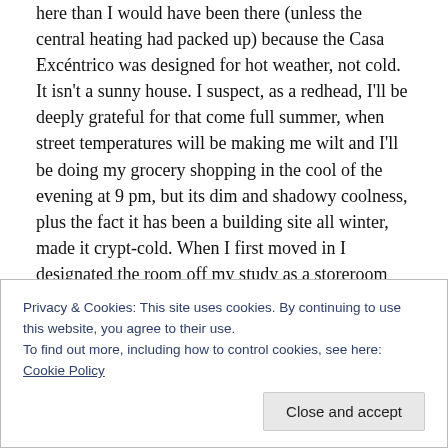here than I would have been there (unless the central heating had packed up) because the Casa Excéntrico was designed for hot weather, not cold. It isn't a sunny house. I suspect, as a redhead, I'll be deeply grateful for that come full summer, when street temperatures will be making me wilt and I'll be doing my grocery shopping in the cool of the evening at 9 pm, but its dim and shadowy coolness, plus the fact it has been a building site all winter, made it crypt-cold. When I first moved in I designated the room off my study as a storeroom and bought industrial shelving to put my cases and boxes there until the renovations were over.
Privacy & Cookies: This site uses cookies. By continuing to use this website, you agree to their use.
To find out more, including how to control cookies, see here: Cookie Policy
Close and accept